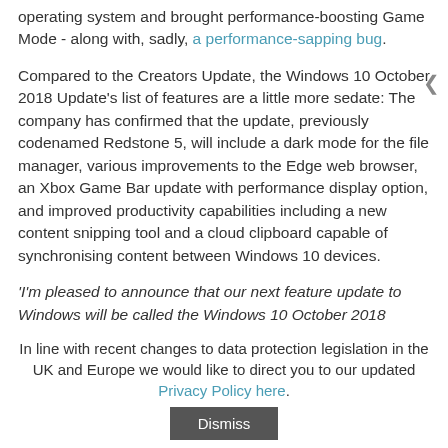operating system and brought performance-boosting Game Mode - along with, sadly, a performance-sapping bug.
Compared to the Creators Update, the Windows 10 October 2018 Update's list of features are a little more sedate: The company has confirmed that the update, previously codenamed Redstone 5, will include a dark mode for the file manager, various improvements to the Edge web browser, an Xbox Game Bar update with performance display option, and improved productivity capabilities including a new content snipping tool and a cloud clipboard capable of synchronising content between Windows 10 devices.
'I'm pleased to announce that our next feature update to Windows will be called the Windows 10 October 2018 Update,' Microsoft's Partner Group Program ...
In line with recent changes to data protection legislation in the UK and Europe we would like to direct you to our updated Privacy Policy here.